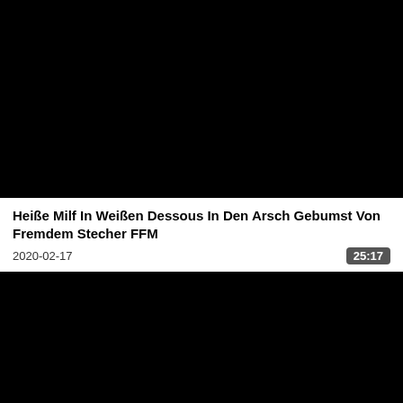[Figure (screenshot): Black video thumbnail rectangle, top portion of page]
Heiße Milf In Weißen Dessous In Den Arsch Gebumst Von Fremdem Stecher FFM
2020-02-17
25:17
[Figure (screenshot): Black video thumbnail rectangle, bottom portion of page]